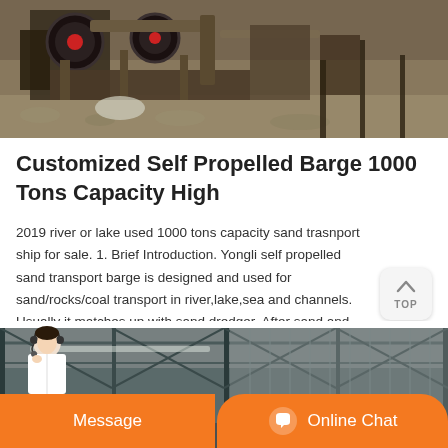[Figure (photo): Outdoor photo of industrial machinery (appears to be a crusher or similar heavy equipment) with metal components, wheels, and rocky ground background]
Customized Self Propelled Barge 1000 Tons Capacity High
2019 river or lake used 1000 tons capacity sand trasnport ship for sale. 1. Brief Introduction. Yongli self propelled sand transport barge is designed and used for sand/rocks/coal transport in river,lake,sea and channels. Usually it matches up with sand dredger. After sand and gravels are digged up, and if the stock area has a long distance ...
[Figure (photo): Indoor photo of an industrial warehouse or factory interior showing steel roof trusses and metal corrugated walls/ceiling with natural lighting]
[Figure (photo): Customer service representative (woman with headset) visible at bottom left corner, with orange Message and Online Chat buttons overlaid at the bottom]